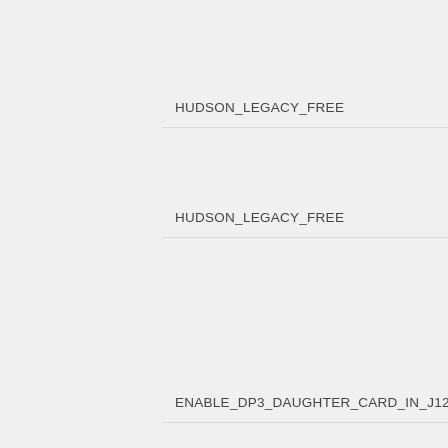HUDSON_LEGACY_FREE
HUDSON_LEGACY_FREE
ENABLE_DP3_DAUGHTER_CARD_IN_J120